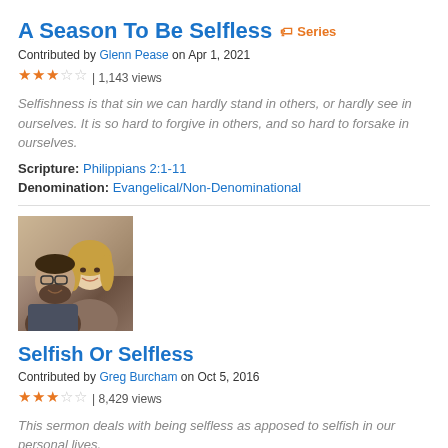A Season To Be Selfless  ⬧ Series
Contributed by Glenn Pease on Apr 1, 2021
★★★☆☆ | 1,143 views
Selfishness is that sin we can hardly stand in others, or hardly see in ourselves. It is so hard to forgive in others, and so hard to forsake in ourselves.
Scripture: Philippians 2:1-11
Denomination: Evangelical/Non-Denominational
[Figure (photo): Photo of a couple, man with glasses and beard on the left, woman with blonde hair on the right, smiling]
Selfish Or Selfless
Contributed by Greg Burcham on Oct 5, 2016
★★★☆☆ | 8,429 views
This sermon deals with being selfless as apposed to selfish in our personal lives.